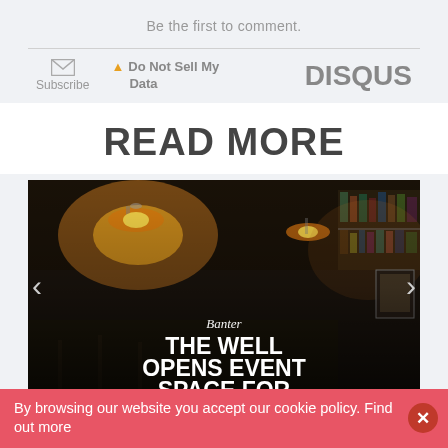Be the first to comment.
Subscribe  ⚠ Do Not Sell My Data  DISQUS
READ MORE
[Figure (photo): Interior shot of a bar/restaurant with warm pendant lights above shelved bottles; text overlaid showing 'Banter' category label and headline 'THE WELL OPENS EVENT SPACE FOR DUBLIN FINAL']
By browsing our website you accept our cookie policy. Find out more